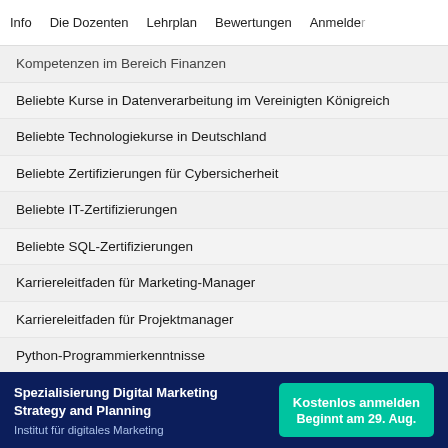Info   Die Dozenten   Lehrplan   Bewertungen   Anmelden
Kompetenzen im Bereich Finanzen
Beliebte Kurse in Datenverarbeitung im Vereinigten Königreich
Beliebte Technologiekurse in Deutschland
Beliebte Zertifizierungen für Cybersicherheit
Beliebte IT-Zertifizierungen
Beliebte SQL-Zertifizierungen
Karriereleitfaden für Marketing-Manager
Karriereleitfaden für Projektmanager
Python-Programmierkenntnisse
Karriereleitfaden für Webentwickler
Datenanalysefähigkeiten
Spezialisierung Digital Marketing Strategy and Planning
Institut für digitales Marketing
Kostenlos anmelden
Beginnt am 29. Aug.